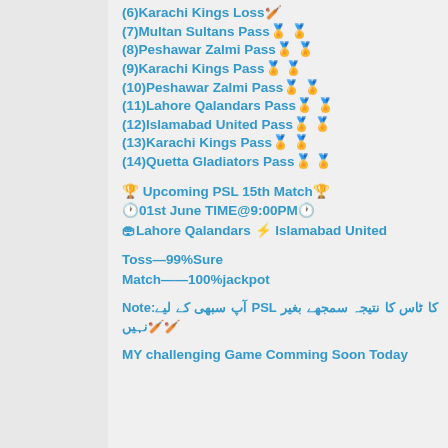(6)Karachi Kings Loss🏏
(7)Multan Sultans Pass🏅🏅
(8)Peshawar Zalmi Pass🏅🏅
(9)Karachi Kings Pass🏅🏅
(10)Peshawar Zalmi Pass🏅🏅
(11)Lahore Qalandars Pass🏅🏅
(12)Islamabad United Pass🏅🏅
(13)Karachi Kings Pass🏅🏅
(14)Quetta Gladiators Pass🏅🏅
🏆 Upcoming PSL 15th Match🏆
🕐01st June TIME@9:00PM🕐
🏟Lahore Qalandars ⚡ Islamabad United
Toss—99%Sure
Match——100%jackpot
Note:آپ سبھی کے لیے PSL کا ٹاس کا نتیجہ سمجھے بغیر نہیں🏏🏏
MY challenging Game Comming Soon Today